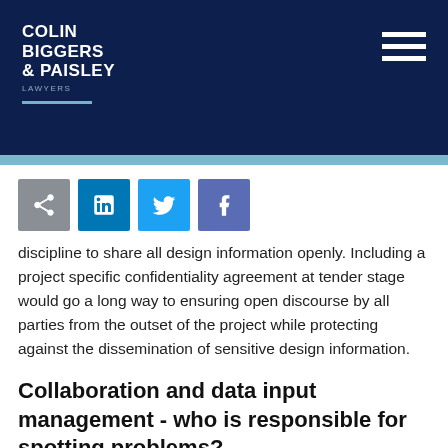Colin Biggers & Paisley Lawyers
[Figure (other): Social sharing icons: email/share, LinkedIn, Twitter, Facebook]
discipline to share all design information openly. Including a project specific confidentiality agreement at tender stage would go a long way to ensuring open discourse by all parties from the outset of the project while protecting against the dissemination of sensitive design information.
Collaboration and data input management - who is responsible for spotting problems?
The success of a BIM is arguably dependent on the efficient management of input into the BIM by each